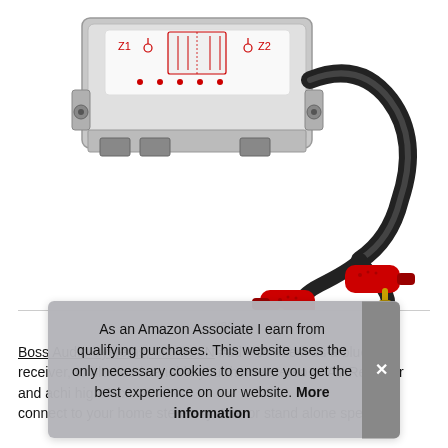[Figure (photo): Photo of an audio ground loop isolator device (metal chassis with Z1 and Z2 circuit diagram on top) connected to a black cable with two red RCA connectors with gold tips, on a white background.]
#ad
Boss Audio Systems, Inc. B25N #ad - Or use it as a bluetooth receiver, to bluetooth-enable your home stereo or AV Receiver and achieve true audiophile quality. Its advanced aptX technology achieves CD-quality audio streaming. Its built-in amplifier provides high quality audio output. It can be used with a 3.5mm Aux input or with dual RCA outputs so you can conveniently connect to your home stereo system or stand alone speakers,
As an Amazon Associate I earn from qualifying purchases. This website uses the only necessary cookies to ensure you get the best experience on our website. More information